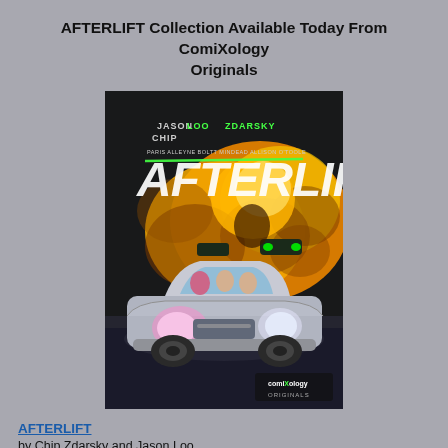AFTERLIFT Collection Available Today From ComiXology Originals
[Figure (illustration): Book cover of AFTERLIFT graphic novel. Shows a silver car with glowing headlights in the foreground, passengers visible inside. Behind it, an explosion of orange and yellow fire clouds, with flying vehicles. Text on cover: JASON LOO, CHIP ZDARSKY (in large green letters), PARIS ALLEYNE, BOLTT, MINDEAD, ALLISON O'TOOLE. Title AFTERLIFT in large white stylized letters with a green diagonal line through it. ComiXology Originals logo in bottom right corner.]
AFTERLIFT by Chip Zdarsky and Jason Loo